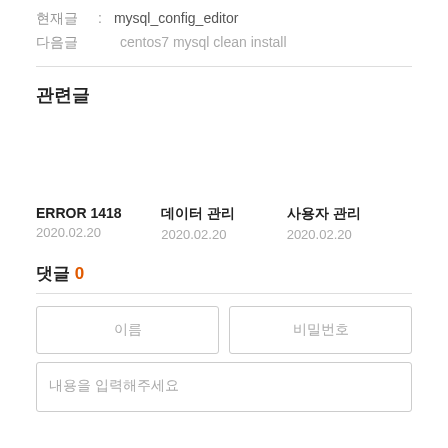현재글 : mysql_config_editor
다음글   centos7 mysql clean install
관련글
ERROR 1418
2020.02.20
데이터 관리
2020.02.20
사용자 관리
2020.02.20
댓글 0
이름
비밀번호
내용을 입력해주세요